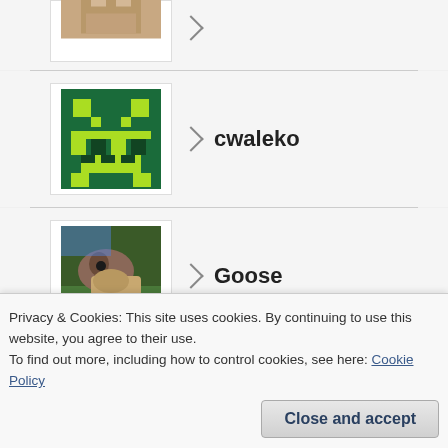[Figure (screenshot): A user list interface showing avatar images and usernames: cwaleko (pixel art green cat), Goose (photo of a bird), iamrickylewis (pixel art character), jdtorres (partial photo). Cookie consent banner overlays the bottom with text and Close and accept button.]
cwaleko
Goose
iamrickylewis
jdtorres
Privacy & Cookies: This site uses cookies. By continuing to use this website, you agree to their use.
To find out more, including how to control cookies, see here: Cookie Policy
Close and accept